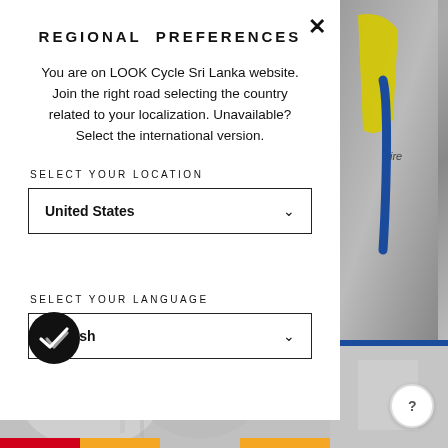REGIONAL PREFERENCES
You are on LOOK Cycle Sri Lanka website. Join the right road selecting the country related to your localization. Unavailable? Select the international version.
SELECT YOUR LOCATION
United States
SELECT YOUR LANGUAGE
English
[Figure (screenshot): Close (X) button in top right of modal]
[Figure (photo): Grayscale photo of cycling jersey with yellow and blue accents on the right side]
[Figure (photo): Grayscale photo at bottom of page showing cycling gear]